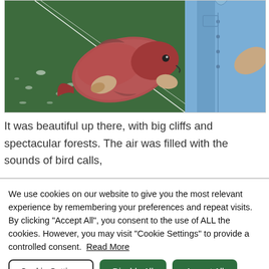[Figure (photo): A man in a light blue button-up shirt holding a large reddish-pink fish (snapper or similar) against a dark green background. A fishing rod is visible in the frame.]
It was beautiful up there, with big cliffs and spectacular forests. The air was filled with the sounds of bird calls,
We use cookies on our website to give you the most relevant experience by remembering your preferences and repeat visits. By clicking "Accept All", you consent to the use of ALL the cookies. However, you may visit "Cookie Settings" to provide a controlled consent.  Read More
Cookie Settings | Disable All | Accept All